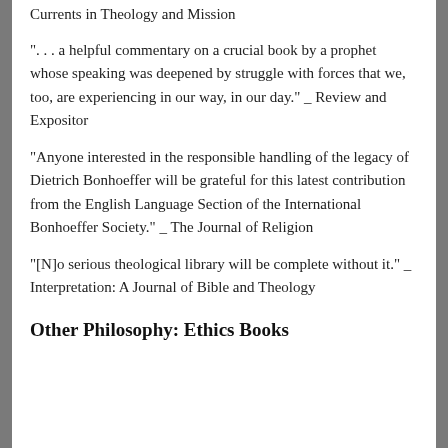Currents in Theology and Mission
". . . a helpful commentary on a crucial book by a prophet whose speaking was deepened by struggle with forces that we, too, are experiencing in our way, in our day." _ Review and Expositor
"Anyone interested in the responsible handling of the legacy of Dietrich Bonhoeffer will be grateful for this latest contribution from the English Language Section of the International Bonhoeffer Society." _ The Journal of Religion
"[N]o serious theological library will be complete without it." _ Interpretation: A Journal of Bible and Theology
Other Philosophy: Ethics Books